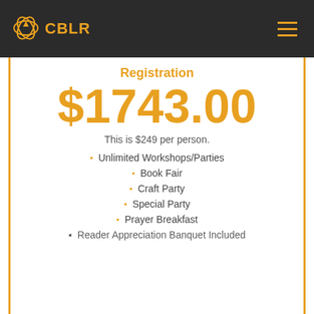CBLR
Registration
$1743.00
This is $249 per person.
Unlimited Workshops/Parties
Book Fair
Craft Party
Special Party
Prayer Breakfast
Reader Appreciation Banquet Included